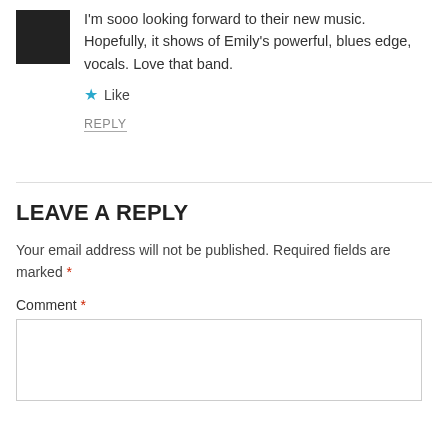[Figure (photo): Small square avatar/profile photo of a person, dark background]
I'm sooo looking forward to their new music. Hopefully, it shows of Emily's powerful, blues edge, vocals. Love that band.
★ Like
REPLY
LEAVE A REPLY
Your email address will not be published. Required fields are marked *
Comment *